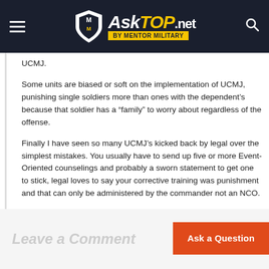AskTOP.net by MENTOR MILITARY
UCMJ.
Some units are biased or soft on the implementation of UCMJ, punishing single soldiers more than ones with the dependent's because that soldier has a “family” to worry about regardless of the offense.
Finally I have seen so many UCMJ’s kicked back by legal over the simplest mistakes. You usually have to send up five or more Event-Oriented counselings and probably a sworn statement to get one to stick, legal loves to say your corrective training was punishment and that can only be administered by the commander not an NCO.
I like the article and recommend the author’s book Move Out.
Reply
Leave a Comment